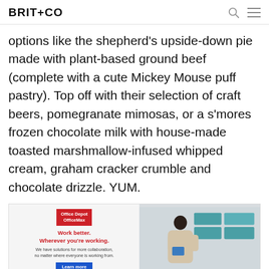BRIT+CO
options like the shepherd's upside-down pie made with plant-based ground beef (complete with a cute Mickey Mouse puff pastry). Top off with their selection of craft beers, pomegranate mimosas, or a s'mores frozen chocolate milk with house-made toasted marshmallow-infused whipped cream, graham cracker crumble and chocolate drizzle. YUM.
[Figure (photo): Advertisement for Office Depot OfficeMax featuring 'Work better. Wherever you're working.' headline in red, a Learn more button, and a photo of a woman organizing items in a home office setting.]